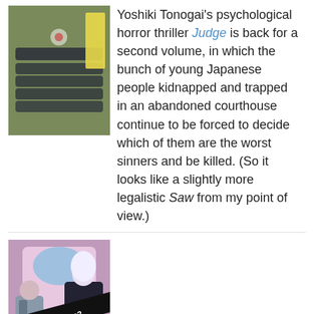[Figure (illustration): Book cover image showing group of young Japanese people lying on the ground, manga horror thriller style with dark/yellow tones]
Yoshiki Tonogai's psychological horror thriller Judge is back for a second volume, in which the bunch of young Japanese people kidnapped and trapped in an abandoned courthouse continue to be forced to decide which of them are the worst sinners and be killed. (So it looks like a slightly more legalistic Saw from my point of view.)
[Figure (illustration): Book cover of 'Are You Alice?, Vol. 3' showing manga-style characters with gun, purple/pink/white color tones]
Are You Alice?, Vol. 3 is by Ikumi